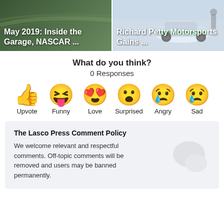[Figure (photo): Two article thumbnail images side by side. Left: 'May 2019: Inside the Garage, NASCAR ...' over a green racing track background. Right: 'Richard Petty Motorsports Gains ...' over a NASCAR car image.]
What do you think?
0 Responses
[Figure (illustration): Six emoji reaction buttons in a row: Upvote (thumbs up), Funny (laughing face with tongue), Love (heart eyes), Surprised (wide-eyed face), Angry (crying angry face), Sad (sad face with tear). Each has a label below.]
The Lasco Press Comment Policy
We welcome relevant and respectful comments. Off-topic comments will be removed and users may be banned permanently.